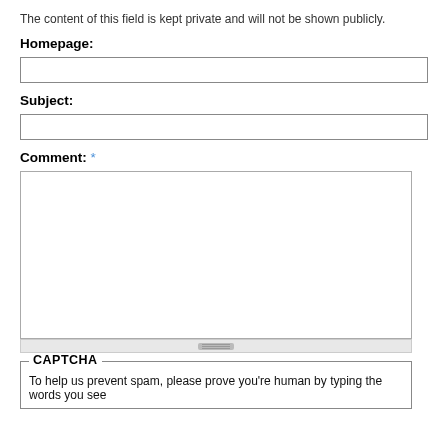The content of this field is kept private and will not be shown publicly.
Homepage:
Subject:
Comment: *
CAPTCHA
To help us prevent spam, please prove you're human by typing the words you see